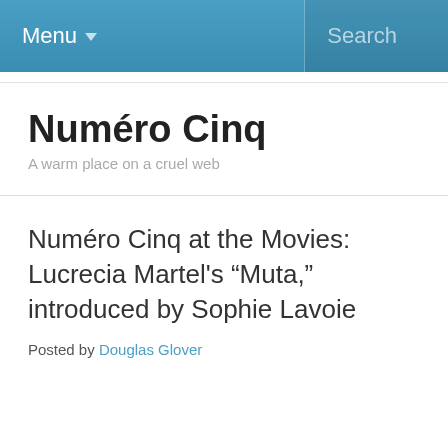Menu ▾   Search
Numéro Cinq
A warm place on a cruel web
Numéro Cinq at the Movies: Lucrecia Martel's “Muta,” introduced by Sophie Lavoie
Posted by Douglas Glover